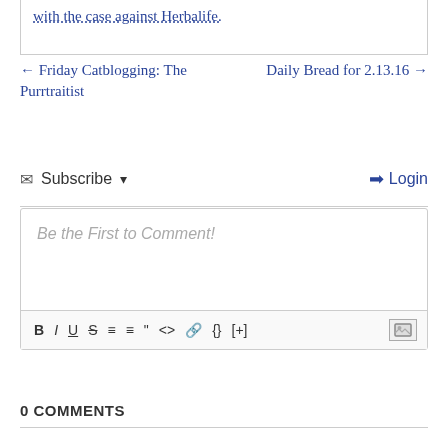with the case against Herbalife.
← Friday Catblogging: The Purrtraitist
Daily Bread for 2.13.16 →
✉ Subscribe ▾
➡ Login
Be the First to Comment!
B I U S ≡ ≡ " <> 🔗 {} [+]
0 COMMENTS